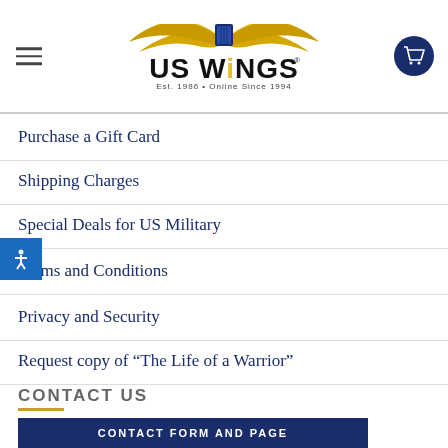[Figure (logo): US Wings logo with golden eagle wings, shield crest, bold text 'US WiNGS' and tagline 'Est. 1986 • Online Since 1994']
Purchase a Gift Card
Shipping Charges
Special Deals for US Military
Terms and Conditions
Privacy and Security
Request copy of “The Life of a Warrior”
CONTACT US
CONTACT FORM AND PAGE